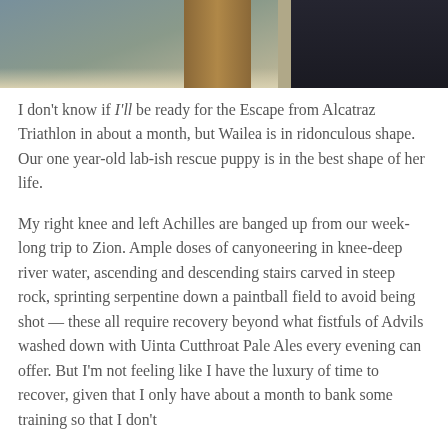[Figure (photo): Top portion of a photo showing wooden elements and dark fabric/clothing against a concrete or stone background]
I don't know if I'll be ready for the Escape from Alcatraz Triathlon in about a month, but Wailea is in ridonculous shape. Our one year-old lab-ish rescue puppy is in the best shape of her life.
My right knee and left Achilles are banged up from our week-long trip to Zion. Ample doses of canyoneering in knee-deep river water, ascending and descending stairs carved in steep rock, sprinting serpentine down a paintball field to avoid being shot — these all require recovery beyond what fistfuls of Advils washed down with Uinta Cutthroat Pale Ales every evening can offer. But I'm not feeling like I have the luxury of time to recover, given that I only have about a month to bank some training so that I don't